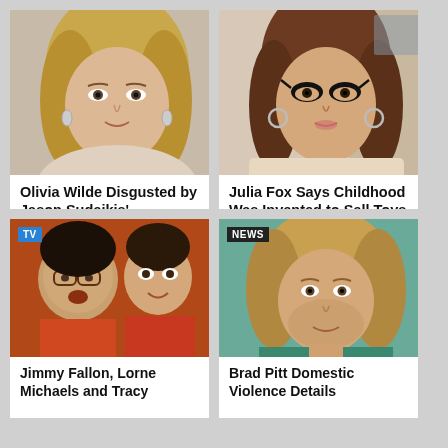[Figure (photo): Olivia Wilde portrait photo]
Olivia Wilde Disgusted by Jason Sudeikis' Viciousness
By William Twiddlesmith · August 24, 2022
[Figure (photo): Julia Fox portrait with heavy eye makeup]
Julia Fox Says Childhood Was Invented to Sell Toys Which Made The Internet Cry
By William Twiddlesmith · August 23, 2022
[Figure (photo): Jimmy Fallon and Lorne Michaels or Tracy photo with TV tag]
Jimmy Fallon, Lorne Michaels and Tracy
[Figure (photo): Brad Pitt portrait with NEWS tag]
Brad Pitt Domestic Violence Details